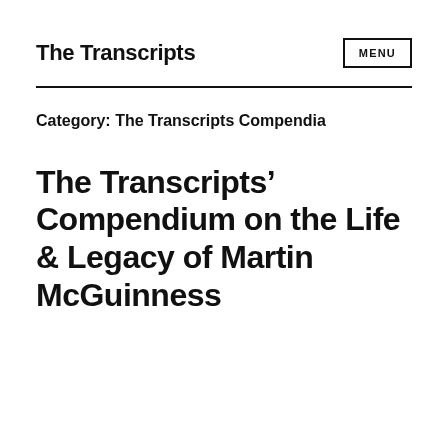The Transcripts
Category: The Transcripts Compendia
The Transcripts’ Compendium on the Life & Legacy of Martin McGuinness